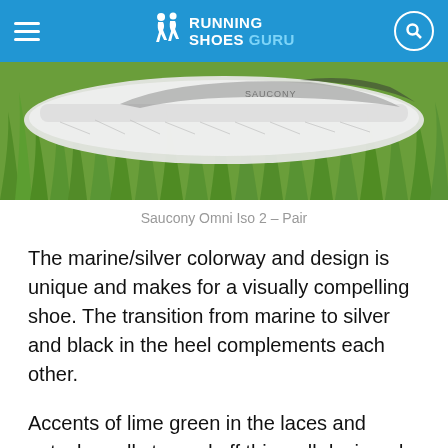Running Shoes Guru
[Figure (photo): Close-up photo of a Saucony Omni Iso 2 running shoe resting on green grass, showing the white/grey sole and upper from a low angle.]
Saucony Omni Iso 2 – Pair
The marine/silver colorway and design is unique and makes for a visually compelling shoe. The transition from marine to silver and black in the heel complements each other.
Accents of lime green in the laces and outsole really topped off this well designed shoe. The asymmetrical design of the inner and outer sides of the upper follows a common Saucony pattern.